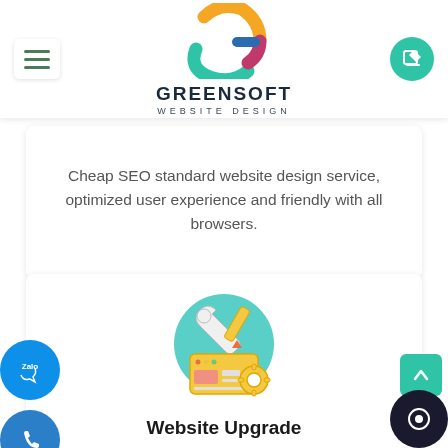[Figure (logo): Greensoft Website Design logo with colorful G icon and text]
Cheap SEO standard website design service, optimized user experience and friendly with all browsers.
[Figure (illustration): Website upgrade tools icon - wrench, pencil, browser window with gear]
Website Upgrade
Website upgrade to bring friendliness, professionalism, application of new technology, to